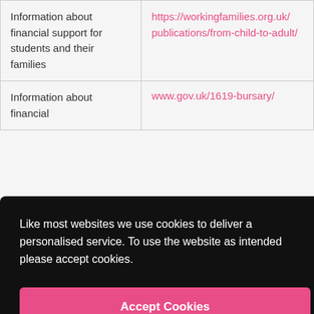| Description | Link |
| --- | --- |
| Information about financial support for students and their families | https://workingfamilies.org.uk/publications/from-child-to-adult/ |
| Information about financial ... | www.gov.uk/1619-bursary/ |
Like most websites we use cookies to deliver a personalised service. To use the website as intended please accept cookies.
Accept Cookies